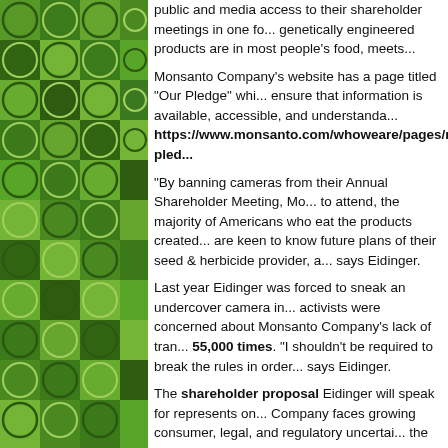[Figure (photo): Aerial photograph of agricultural fields with circular irrigation patterns in green and yellow tones, used as a decorative left-column image.]
public and media access to their shareholder meetings in one fo... genetically engineered products are in most people's food, meets...
Monsanto Company's website has a page titled "Our Pledge" whi... ensure that information is available, accessible, and understanda... https://www.monsanto.com/whoweare/pages/monsanto-pled...
"By banning cameras from their Annual Shareholder Meeting, Mo... to attend, the majority of Americans who eat the products created... are keen to know future plans of their seed & herbicide provider, a... says Eidinger.
Last year Eidinger was forced to sneak an undercover camera in... activists were concerned about Monsanto Company's lack of tran... 55,000 times. "I shouldn't be required to break the rules in order... says Eidinger.
The shareholder proposal Eidinger will speak for represents on... Company faces growing consumer, legal, and regulatory uncertai... the form of GMO food labeling is leading to new battles for Monsa... to prevent labeling of genetically engineered foods in California. N... landmark case on GMO patent exhaustion, will be argued before... the Monsanto Company...